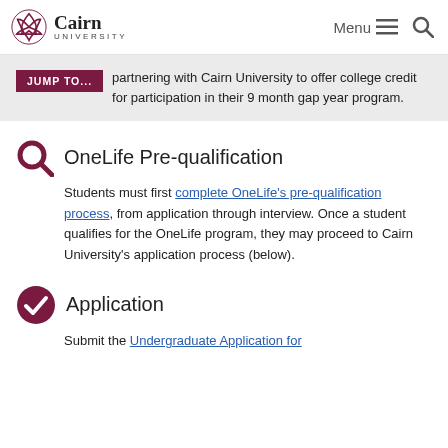Cairn University — Menu
JUMP TO... partnering with Cairn University to offer college credit for participation in their 9 month gap year program.
OneLife Pre-qualification
Students must first complete OneLife's pre-qualification process, from application through interview. Once a student qualifies for the OneLife program, they may proceed to Cairn University's application process (below).
Application
Submit the Undergraduate Application for